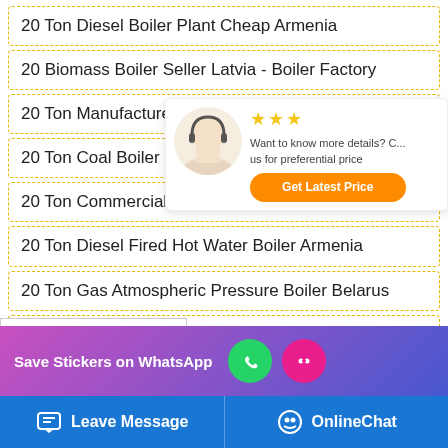20 Ton Diesel Boiler Plant Cheap Armenia
20 Biomass Boiler Seller Latvia - Boiler Factory
20 Ton Manufacturers Boiler Brand Kyrgyz
20 Ton Coal Boiler Plant Cheap Commerci...
20 Ton Commercial Seller Boiler Brand Azerbaijan
20 Ton Diesel Fired Hot Water Boiler Armenia
20 Ton Gas Atmospheric Pressure Boiler Belarus
20 Ton Oil Boiler Brand Commercial Top Manufacturer
...essure Boiler Russia
[Figure (screenshot): Chat/Email/Contact sidebar overlay with icons]
[Figure (screenshot): Popup overlay with woman headset image, text 'Want to know more details? Contact us for preferential price', Get Latest Price button, and gold stars]
[Figure (screenshot): Save Stickers on WhatsApp banner with WhatsApp and emoji icons]
Leave Message    OnlineChat